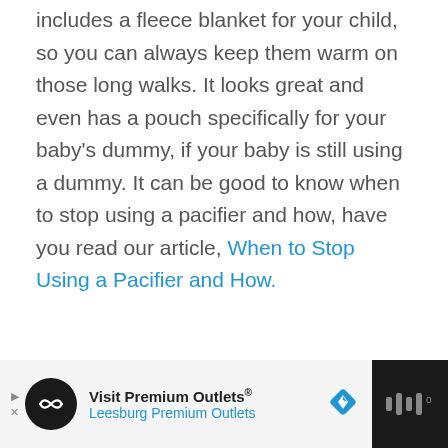includes a fleece blanket for your child, so you can always keep them warm on those long walks. It looks great and even has a pouch specifically for your baby's dummy, if your baby is still using a dummy. It can be good to know when to stop using a pacifier and how, have you read our article, When to Stop Using a Pacifier and How.
[Figure (screenshot): Advertisement banner for Visit Premium Outlets - Leesburg Premium Outlets with logo, navigation arrow icon, and dark right panel with stylized logo]